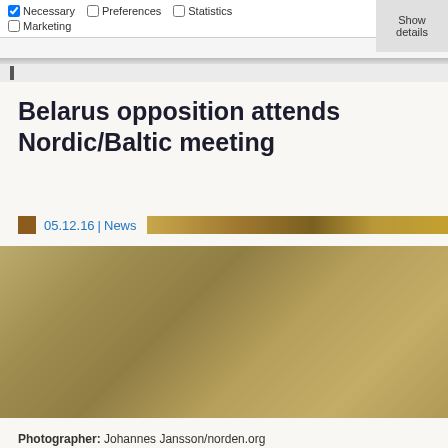Necessary  Preferences  Statistics  Marketing  Show details
Belarus opposition attends Nordic/Baltic meeting
05.12.16 | News
[Figure (photo): Large photographic image, mostly tan/gold tones, appears to be a landscape or event photo]
Photographer: Johannes Jansson/norden.org